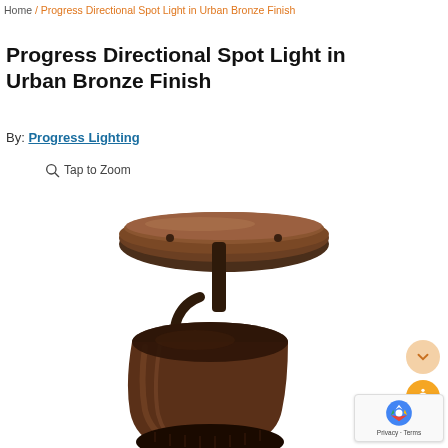Home / Progress Directional Spot Light in Urban Bronze Finish
Progress Directional Spot Light in Urban Bronze Finish
By: Progress Lighting
Tap to Zoom
[Figure (photo): Progress Directional Spot Light in Urban Bronze Finish — a ceiling-mounted spotlight with a round disc canopy in dark bronze finish, with an adjustable arm and a bell-shaped directional shade angled slightly, photographed on a white background.]